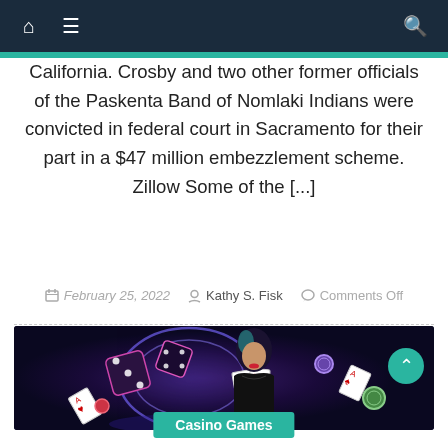Navigation bar with home, menu, and search icons
California. Crosby and two other former officials of the Paskenta Band of Nomlaki Indians were convicted in federal court in Sacramento for their part in a $47 million embezzlement scheme. Zillow Some of the [...]
February 25, 2022  Kathy S. Fisk  Comments Off
[Figure (photo): Casino themed promotional image with a woman in black lace holding playing cards, surrounded by flying dice, poker chips, and playing cards against a dark neon-lit background]
Casino Games